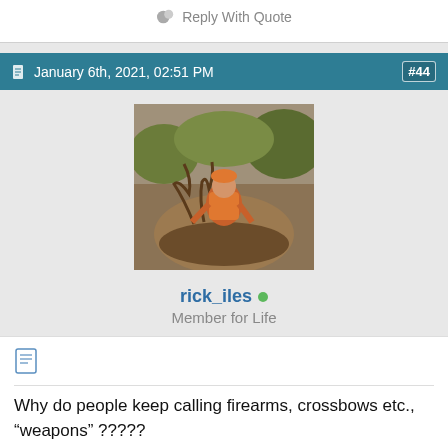Reply With Quote
January 6th, 2021, 02:51 PM  #44
[Figure (photo): Avatar photo of user rick_iles: a hunter in orange vest and hat kneeling behind a harvested elk with large antlers on a dirt trail.]
rick_iles
Member for Life
Why do people keep calling firearms, crossbows etc., “weapons” ?????